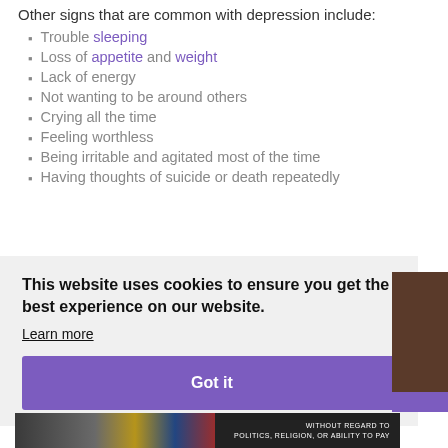Other signs that are common with depression include:
Trouble sleeping
Loss of appetite and weight
Lack of energy
Not wanting to be around others
Crying all the time
Feeling worthless
Being irritable and agitated most of the time
Having thoughts of suicide or death repeatedly
This website uses cookies to ensure you get the best experience on our website.
Learn more
Got it